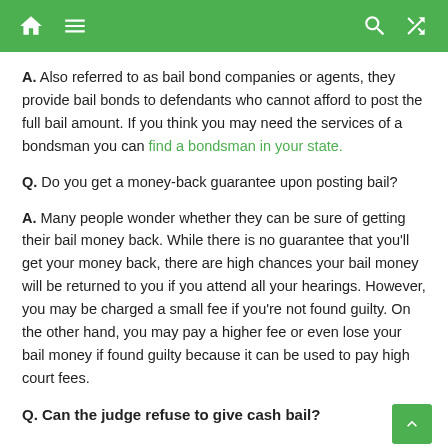Navigation bar with home, menu, search, and shuffle icons
A. Also referred to as bail bond companies or agents, they provide bail bonds to defendants who cannot afford to post the full bail amount. If you think you may need the services of a bondsman you can find a bondsman in your state.
Q. Do you get a money-back guarantee upon posting bail?
A. Many people wonder whether they can be sure of getting their bail money back. While there is no guarantee that you'll get your money back, there are high chances your bail money will be returned to you if you attend all your hearings. However, you may be charged a small fee if you're not found guilty. On the other hand, you may pay a higher fee or even lose your bail money if found guilty because it can be used to pay high court fees.
Q. Can the judge refuse to give cash bail?